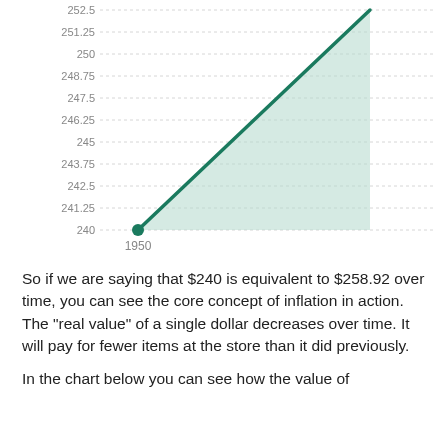[Figure (area-chart): Area chart showing inflation value rising from $240 in 1950 to approximately $252.5, with a shaded green area under the line.]
So if we are saying that $240 is equivalent to $258.92 over time, you can see the core concept of inflation in action. The "real value" of a single dollar decreases over time. It will pay for fewer items at the store than it did previously.
In the chart below you can see how the value of